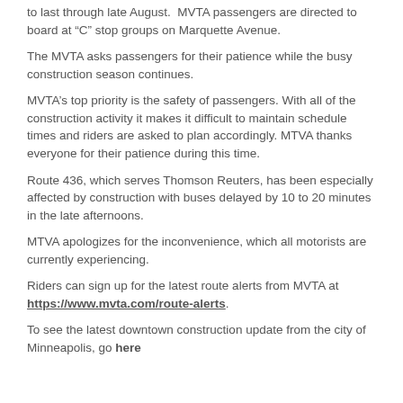to last through late August.  MVTA passengers are directed to board at “C” stop groups on Marquette Avenue.
The MVTA asks passengers for their patience while the busy construction season continues.
MVTA’s top priority is the safety of passengers. With all of the construction activity it makes it difficult to maintain schedule times and riders are asked to plan accordingly. MTVA thanks everyone for their patience during this time.
Route 436, which serves Thomson Reuters, has been especially affected by construction with buses delayed by 10 to 20 minutes in the late afternoons.
MTVA apologizes for the inconvenience, which all motorists are currently experiencing.
Riders can sign up for the latest route alerts from MVTA at https://www.mvta.com/route-alerts.
To see the latest downtown construction update from the city of Minneapolis, go here